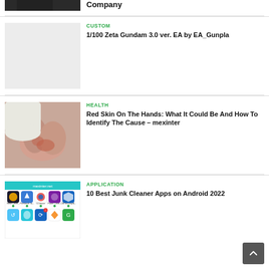[Figure (photo): Partial photo of a person in formal wear (top cropped)]
Company
[Figure (photo): Light gray placeholder image for 1/100 Zeta Gundam article]
CUSTOM
1/100 Zeta Gundam 3.0 ver. EA by EA_Gunpla
[Figure (photo): Photo of hands with red skin rash]
HEALTH
Red Skin On The Hands: What It Could Be And How To Identify The Cause - mexinter
[Figure (screenshot): Screenshot of app icons grid - junk cleaner apps on Android]
APPLICATION
10 Best Junk Cleaner Apps on Android 2022